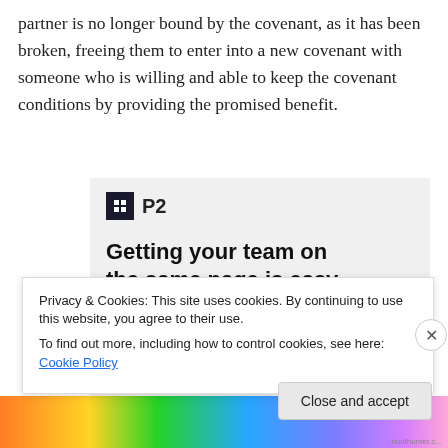partner is no longer bound by the covenant, as it has been broken, freeing them to enter into a new covenant with someone who is willing and able to keep the covenant conditions by providing the promised benefit.
[Figure (screenshot): P2 app advertisement showing logo, headline 'Getting your team on the same page is easy. And free.' with user avatar circles below]
Privacy & Cookies: This site uses cookies. By continuing to use this website, you agree to their use.
To find out more, including how to control cookies, see here: Cookie Policy
Close and accept